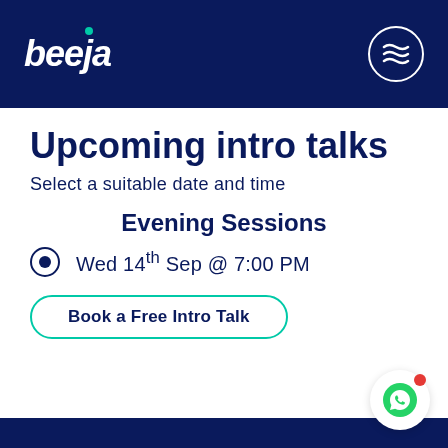[Figure (logo): Beeja logo in white italic text with teal dot accent, on dark navy background, with wavy lines circle icon on right]
Upcoming intro talks
Select a suitable date and time
Evening Sessions
Wed 14th Sep @ 7:00 PM
Book a Free Intro Talk